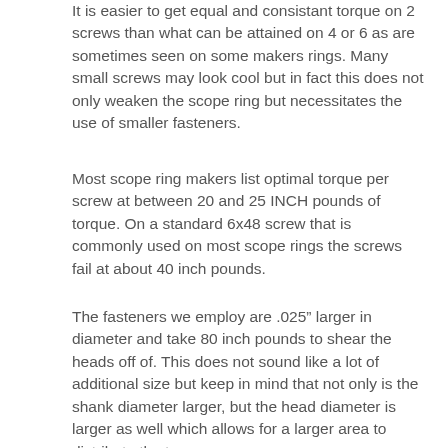It is easier to get equal and consistant torque on 2 screws than what can be attained on 4 or 6 as are sometimes seen on some makers rings. Many small screws may look cool but in fact this does not only weaken the scope ring but necessitates the use of smaller fasteners.
Most scope ring makers list optimal torque per screw at between 20 and 25 INCH pounds of torque. On a standard 6x48 screw that is commonly used on most scope rings the screws fail at about 40 inch pounds.
The fasteners we employ are .025" larger in diameter and take 80 inch pounds to shear the heads off of. This does not sound like a lot of additional size but keep in mind that not only is the shank diameter larger, but the head diameter is larger as well which allows for a larger area to distribute the torque over.
By employing larger diameter fasteners we can keep the amount of real estate used by the rings on the